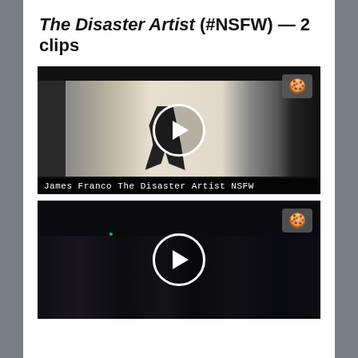The Disaster Artist (#NSFW) — 2 clips
[Figure (screenshot): Video thumbnail showing a person in a studio set in a crouching/dancing pose, with film lighting equipment visible. A play button overlay is shown. Caption reads 'James Franco The Disaster Artist NSFW'. A cookie/chef icon badge appears in the top right corner.]
[Figure (screenshot): Video thumbnail showing a dark scene with audience members in formal attire seated in what appears to be a theater or event. A play button overlay is shown. A cookie/chef icon badge appears in the top right corner.]